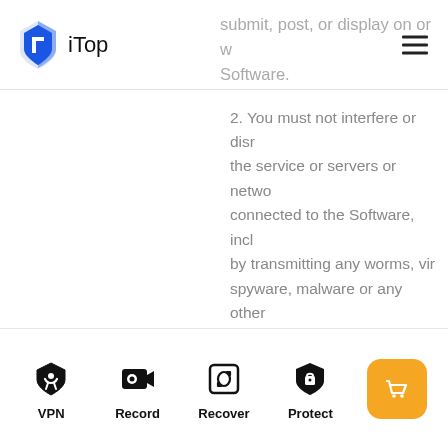iTop
submit, post, or display on or w... Software.
2. You must not interfere or disrupt the service or servers or networks connected to the Software, including by transmitting any worms, viruses, spyware, malware or any other code of a destructive or disruptive nature, or access iTop Inc.'s private API by any means other than in compliance with rules we set on API access.
3. You are not allowed to resell or charge others for use of or access to the Software, or duplicate,
VPN | Record | Recover | Protect